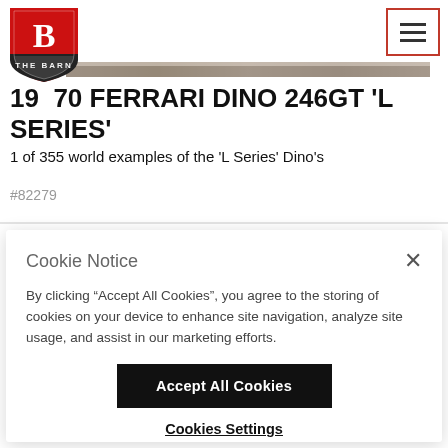THE BARN — navigation header with logo and hamburger menu
1970 FERRARI DINO 246GT 'L SERIES'
1 of 355 world examples of the 'L Series' Dino's
#82279
Cookie Notice
By clicking "Accept All Cookies", you agree to the storing of cookies on your device to enhance site navigation, analyze site usage, and assist in our marketing efforts.
Accept All Cookies
Cookies Settings